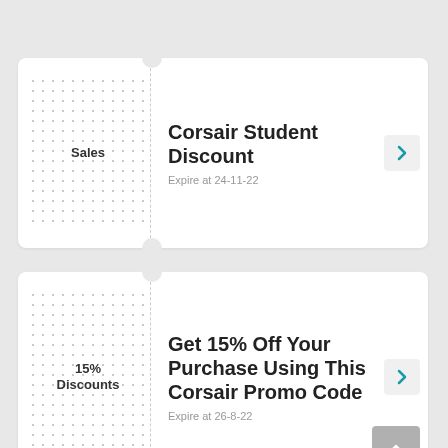Corsair Student Discount
Sales
Expire at 24-11-22
Get 15% Off Your Purchase Using This Corsair Promo Code
15% Discounts
Expire at 26-8-22
10% Off Any Purchase
10%